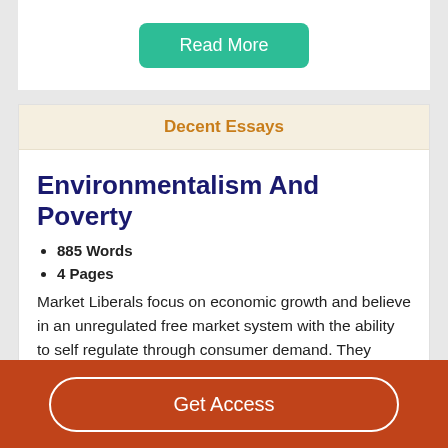[Figure (other): Green 'Read More' button on white card background]
Decent Essays
Environmentalism And Poverty
885 Words
4 Pages
Market Liberals focus on economic growth and believe in an unregulated free market system with the ability to self regulate through consumer demand. They believe that environmental damages that may stem from economic growth will be corrected once a society is economically
[Figure (other): Brown/orange 'Get Access' button on dark orange footer bar]